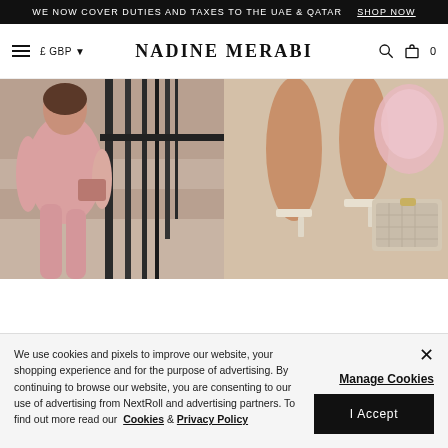WE NOW COVER DUTIES AND TAXES TO THE UAE & QATAR  SHOP NOW
NADINE MERABI  £ GBP  [menu] [search] [bag] 0
[Figure (photo): Two cropped fashion photos side by side: left shows a person in a pink outfit sitting on stone steps with black iron railings; right shows legs wearing clear heeled sandals with a pink shiny bag and designer clutch on a light floor]
We use cookies and pixels to improve our website, your shopping experience and for the purpose of advertising. By continuing to browse our website, you are consenting to our use of advertising from NextRoll and advertising partners. To find out more read our Cookies & Privacy Policy
Manage Cookies
I Accept